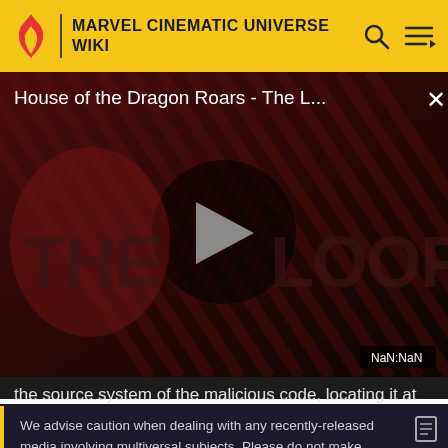MARVEL CINEMATIC UNIVERSE WIKI
[Figure (screenshot): Video thumbnail for 'House of the Dragon Roars - The Loop' showing 'THE LOOP' text with a play button in the center on a dark red diagonal-stripe background. Timestamp shows NaN:NaN.]
the source system of the malicious code, locating it at
We advise caution when dealing with any recently-released media involving multiversal subjects. Please do not make assumptions regarding confusing wording, other sites' speculation, and people's headcanon around the internet.